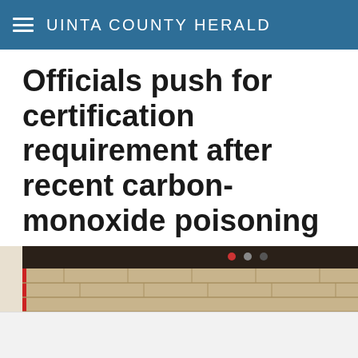UINTA COUNTY HERALD
Officials push for certification requirement after recent carbon-monoxide poisoning
[Figure (photo): Partial photo of a person wearing a hat standing near a brick wall with a dark panel above and red accent stripe, partially visible at bottom of page]